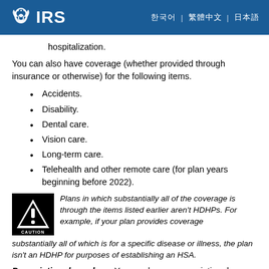IRS
hospitalization.
You can also have coverage (whether provided through insurance or otherwise) for the following items.
Accidents.
Disability.
Dental care.
Vision care.
Long-term care.
Telehealth and other remote care (for plan years beginning before 2022).
Plans in which substantially all of the coverage is through the items listed earlier aren't HDHPs. For example, if your plan provides coverage substantially all of which is for a specific disease or illness, the plan isn't an HDHP for purposes of establishing an HSA.
Prescription drug plans. You can have a prescription drug plan, either as part of your HDHP or a separate plan (or